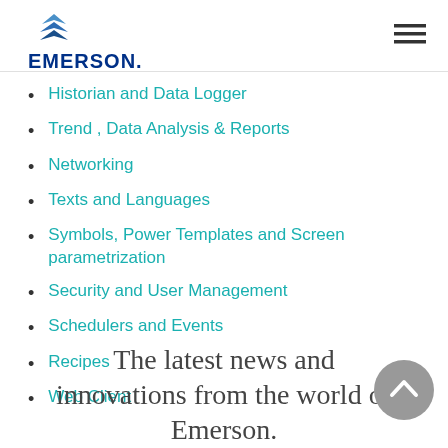EMERSON.
Historian and Data Logger
Trend , Data Analysis & Reports
Networking
Texts and Languages
Symbols, Power Templates and Screen parametrization
Security and User Management
Schedulers and Events
Recipes
Web Client
The latest news and innovations from the world of Emerson.
Subscribe to our newsletter